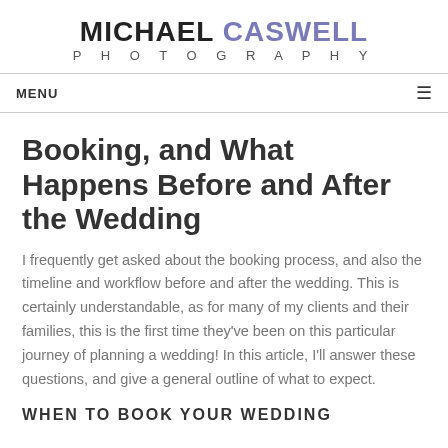MICHAEL CASWELL PHOTOGRAPHY
MENU
Booking, and What Happens Before and After the Wedding
I frequently get asked about the booking process, and also the timeline and workflow before and after the wedding. This is certainly understandable, as for many of my clients and their families, this is the first time they've been on this particular journey of planning a wedding! In this article, I'll answer these questions, and give a general outline of what to expect.
WHEN TO BOOK YOUR WEDDING